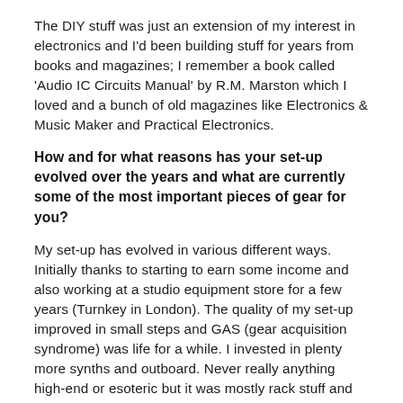The DIY stuff was just an extension of my interest in electronics and I'd been building stuff for years from books and magazines; I remember a book called 'Audio IC Circuits Manual' by R.M. Marston which I loved and a bunch of old magazines like Electronics & Music Maker and Practical Electronics.
How and for what reasons has your set-up evolved over the years and what are currently some of the most important pieces of gear for you?
My set-up has evolved in various different ways. Initially thanks to starting to earn some income and also working at a studio equipment store for a few years (Turnkey in London). The quality of my set-up improved in small steps and GAS (gear acquisition syndrome) was life for a while. I invested in plenty more synths and outboard. Never really anything high-end or esoteric but it was mostly rack stuff and almost always on the more